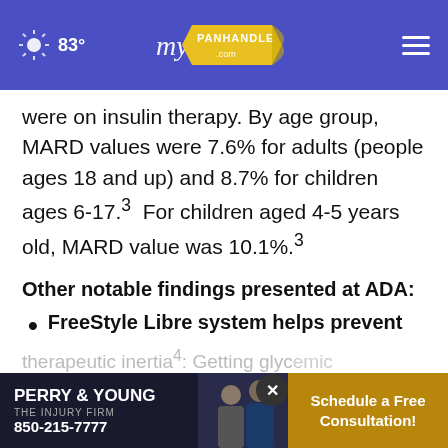83° myPanhandle.com
were on insulin therapy. By age group, MARD values were 7.6% for adults (people ages 18 and up) and 8.7% for children ages 6-17.³  For children aged 4-5 years old, MARD value was 10.1%.³
Other notable findings presented at ADA:
FreeStyle Libre system helps prevent therapeutic inertia⁴: Getting glycemic
[Figure (screenshot): Advertisement for Perry Young The Injury Firm with phone number 850-215-7777 and Schedule a Free Consultation call to action]